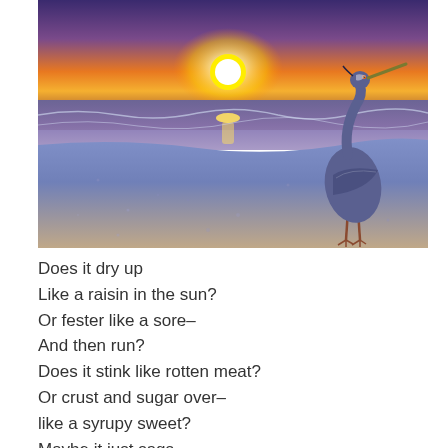[Figure (photo): A great blue heron standing on a sandy beach at sunset, with waves in the background and a bright golden sun on the horizon reflecting on the water.]
Does it dry up
Like a raisin in the sun?
Or fester like a sore–
And then run?
Does it stink like rotten meat?
Or crust and sugar over–
like a syrupy sweet?
Maybe it just sags
like a heavy load.Or does it explode?